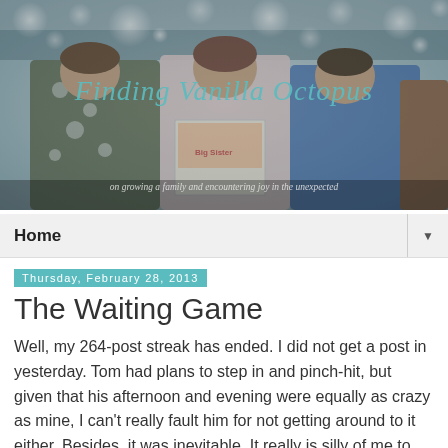[Figure (photo): Blog header image showing three children sitting together reading a book titled 'Big Sister', with the cursive blog title 'Finding Vanilla Octopus' overlaid in teal/aqua text, and a subtitle 'on growing a family and encountering joy in the unexpected' at the bottom. The background has bokeh light effects.]
Home ▼
Thursday, February 28, 2013
The Waiting Game
Well, my 264-post streak has ended. I did not get a post in yesterday. Tom had plans to step in and pinch-hit, but given that his afternoon and evening were equally as crazy as mine, I can't really fault him for not getting around to it either. Besides, it was inevitable. It really is silly of me to concern myself with publishing something each and every day.